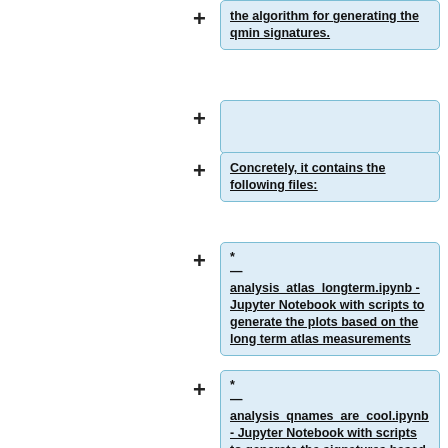the algorithm for generating the qmin signatures.
Concretely, it contains the following files:
* — analysis_atlas_longterm.ipynb - Jupyter Notebook with scripts to generate the plots based on the long term atlas measurements
* — analysis_qnames_are_cool.ipynb - Jupyter Notebook with scripts to generate the signatures based on the "qnames-are-cool.nl" dataset.